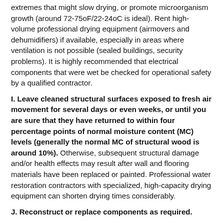extremes that might slow drying, or promote microorganism growth (around 72-75oF/22-24oC is ideal). Rent high-volume professional drying equipment (airmovers and dehumidifiers) if available, especially in areas where ventilation is not possible (sealed buildings, security problems). It is highly recommended that electrical components that were wet be checked for operational safety by a qualified contractor.
I. Leave cleaned structural surfaces exposed to fresh air movement for several days or even weeks, or until you are sure that they have returned to within four percentage points of normal moisture content (MC) levels (generally the normal MC of structural wood is around 10%). Otherwise, subsequent structural damage and/or health effects may result after wall and flooring materials have been replaced or painted. Professional water restoration contractors with specialized, high-capacity drying equipment can shorten drying times considerably.
J. Reconstruct or replace components as required.
Where financial resources permit, it is highly recommended that comprehensive restoration be accomplished by trained, IICRC Damage Restoration Technicians. They may be